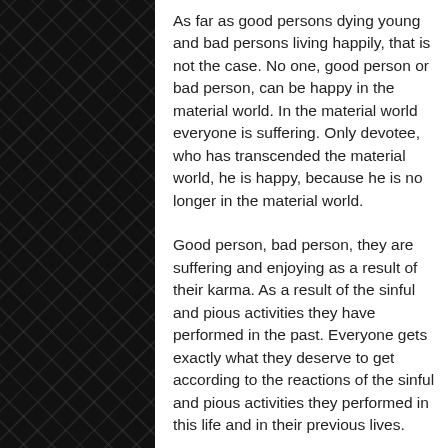As far as good persons dying young and bad persons living happily, that is not the case. No one, good person or bad person, can be happy in the material world. In the material world everyone is suffering. Only devotee, who has transcended the material world, he is happy, because he is no longer in the material world.
Good person, bad person, they are suffering and enjoying as a result of their karma. As a result of the sinful and pious activities they have performed in the past. Everyone gets exactly what they deserve to get according to the reactions of the sinful and pious activities they performed in this life and in their previous lives.